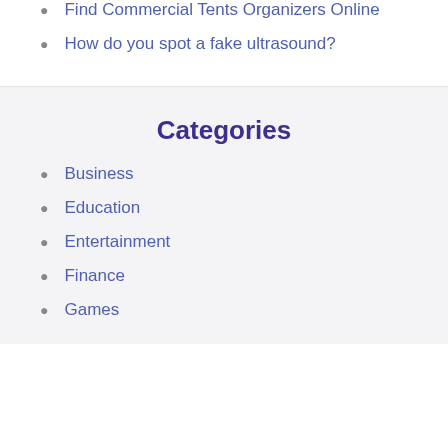Find Commercial Tents Organizers Online
How do you spot a fake ultrasound?
Categories
Business
Education
Entertainment
Finance
Games